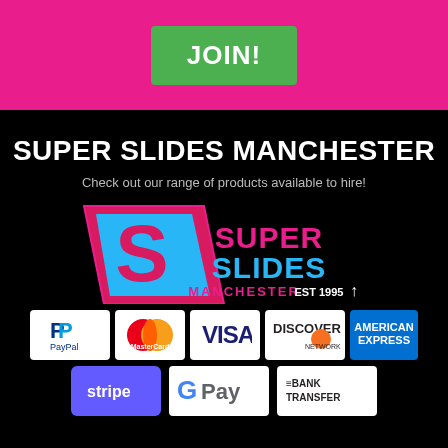[Figure (other): Pink banner with green JOIN! button]
SUPER SLIDES MANCHESTER
Check out our range of products available to hire!
[Figure (logo): Super Slides Manchester logo with Superman-style diamond, pink/blue text, EST 1995]
[Figure (other): Payment method logos: PayPal, MasterCard, VISA, Discover Network, American Express, Stripe, Google Pay, Bank Transfer]